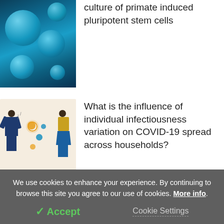[Figure (photo): Microscopic image of blue-tinted cells, primate induced pluripotent stem cells]
culture of primate induced pluripotent stem cells
[Figure (illustration): Illustration of two people with COVID virus particles floating between them on a beige background]
What is the influence of individual infectiousness variation on COVID-19 spread across households?
Intranasally delivered neutralizing antibody protects against SARS-CoV-2 Omicron and Delta variants
We use cookies to enhance your experience. By continuing to browse this site you agree to our use of cookies. More info.
✓ Accept
Cookie Settings